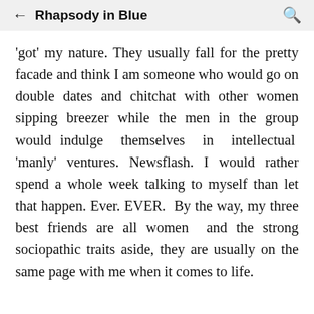← Rhapsody in Blue 🔍
'got' my nature. They usually fall for the pretty facade and think I am someone who would go on double dates and chitchat with other women sipping breezer while the men in the group would indulge themselves in intellectual 'manly' ventures. Newsflash. I would rather spend a whole week talking to myself than let that happen. Ever. EVER. By the way, my three best friends are all women and the strong sociopathic traits aside, they are usually on the same page with me when it comes to life.